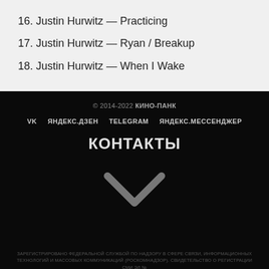16. Justin Hurwitz — Practicing
17. Justin Hurwitz — Ryan / Breakup
18. Justin Hurwitz — When I Wake
© 2014-2022 КИНО-ПАНК
VK  ЯНДЕКС.ДЗЕН  TELEGRAM  ЯНДЕКС.МЕССЕНДЖЕР
КОНТАКТЫ
ЗАРЕГИСТРИРОВАНО ФЕДЕРАЛЬНОЙ СЛУЖБОЙ ПО НАДЗОРУ В СФЕРЕ СВЯЗИ, ИНФОРМАЦИОННЫХ ТЕХНОЛОГИЙ И МАССОВЫХ КОММУНИКАЦИЙ (РОСКОМНАДЗОР). СВИДЕТЕЛЬСТВО О РЕГИСТРАЦИИ СМИ ЭЛ № ФС 77 - 74308 ОТ 23.11.2018